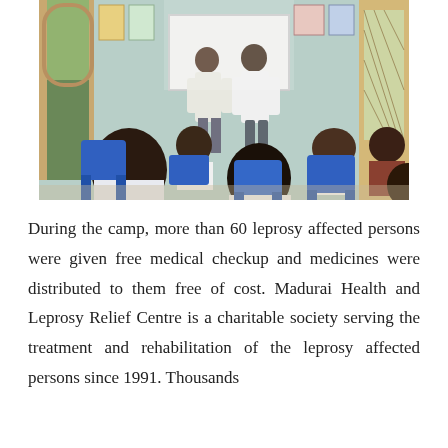[Figure (photo): A group of people seated on blue plastic chairs in a room with light blue walls, attending what appears to be a health camp or meeting. Two men in white clothing stand at the front near a whiteboard or screen. Posters and charts are visible on the walls.]
During the camp, more than 60 leprosy affected persons were given free medical checkup and medicines were distributed to them free of cost. Madurai Health and Leprosy Relief Centre is a charitable society serving the treatment and rehabilitation of the leprosy affected persons since 1991. Thousands